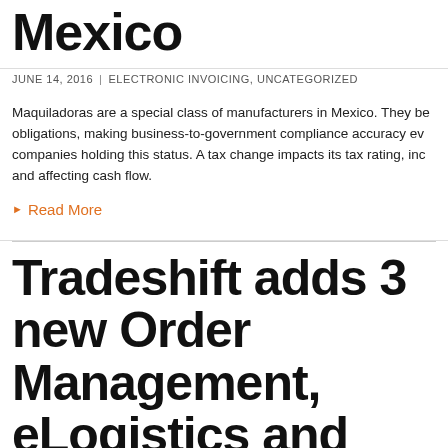Mexico
JUNE 14, 2016 | ELECTRONIC INVOICING, UNCATEGORIZED
Maquiladoras are a special class of manufacturers in Mexico. They be obligations, making business-to-government compliance accuracy ev companies holding this status. A tax change impacts its tax rating, inc and affecting cash flow.
▶ Read More
Tradeshift adds 3 new Order Management, eLogistics and Advanced Inventory Collaboration
JULY 28, 2015 | UNCATEGORIZED